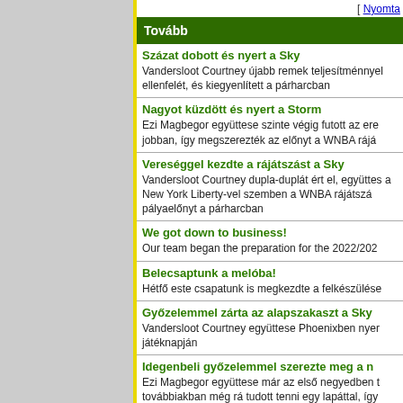[ Nyomta
Tovább
Százat dobott és nyert a Sky
Vandersloot Courtney újabb remek teljesítménnyel ellenfelét, és kiegyenlített a párharcban
Nagyot küzdött és nyert a Storm
Ezi Magbegor együttese szinte végig futott az ere jobban, így megszerezték az előnyt a WNBA rájá
Vereséggel kezdte a rájátszást a Sky
Vandersloot Courtney dupla-duplát ért el, együttes a New York Liberty-vel szemben a WNBA rájátszá pályaelőnyt a párharcban
We got down to business!
Our team began the preparation for the 2022/202
Belecsaptunk a melóba!
Hétfő este csapatunk is megkezdte a felkészülése
Győzelemmel zárta az alapszakaszt a Sky
Vandersloot Courtney együttese Phoenixben nyer játéknapján
Idegenbeli győzelemmel szerezte meg a n
Ezi Magbegor együttese már az első negyedben t továbbiakban még rá tudott tenni egy lapáttal, így bebiztositotta negyedik helyét a tabellán
Nem jut rájátszásba a Sparks